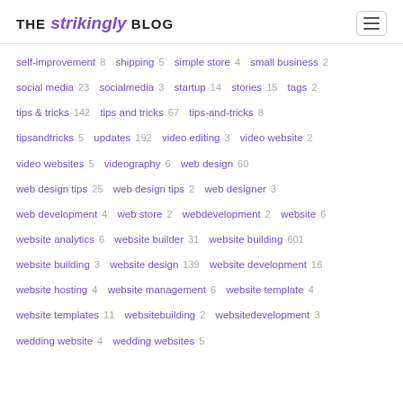THE strikingly BLOG
self-improvement 8   shipping 5   simple store 4   small business 2
social media 23   socialmedia 3   startup 14   stories 15   tags 2
tips & tricks 142   tips and tricks 67   tips-and-tricks 8
tipsandtricks 5   updates 192   video editing 3   video website 2
video websites 5   videography 6   web design 60
web design tips 25   web design tips 2   web designer 3
web development 4   web store 2   webdevelopment 2   website 6
website analytics 6   website builder 31   website building 601
website building 3   website design 139   website development 16
website hosting 4   website management 6   website template 4
website templates 11   websitebuilding 2   websitedevelopment 3
wedding website 4   wedding websites 5